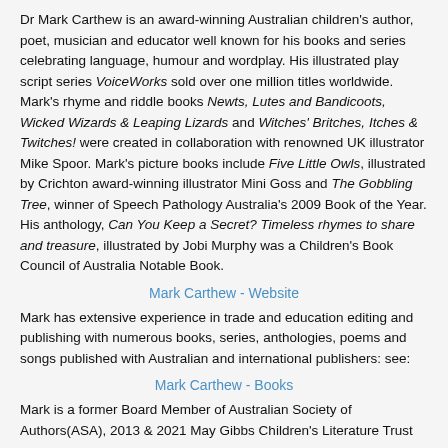Dr Mark Carthew is an award-winning Australian children's author, poet, musician and educator well known for his books and series celebrating language, humour and wordplay. His illustrated play script series VoiceWorks sold over one million titles worldwide. Mark's rhyme and riddle books Newts, Lutes and Bandicoots, Wicked Wizards & Leaping Lizards and Witches' Britches, Itches & Twitches! were created in collaboration with renowned UK illustrator Mike Spoor. Mark's picture books include Five Little Owls, illustrated by Crichton award-winning illustrator Mini Goss and The Gobbling Tree, winner of Speech Pathology Australia's 2009 Book of the Year. His anthology, Can You Keep a Secret? Timeless rhymes to share and treasure, illustrated by Jobi Murphy was a Children's Book Council of Australia Notable Book.
Mark Carthew - Website
Mark has extensive experience in trade and education editing and publishing with numerous books, series, anthologies, poems and songs published with Australian and international publishers: see:
Mark Carthew - Books
Mark is a former Board Member of Australian Society of Authors(ASA), 2013 & 2021 May Gibbs Children's Literature Trust